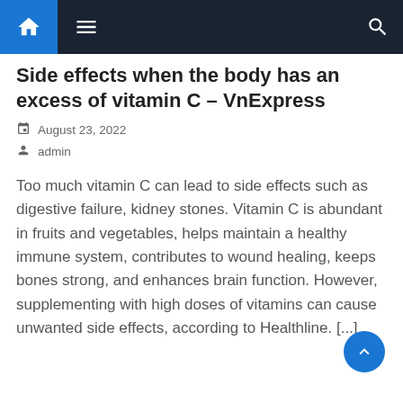Navigation bar with home, menu, and search icons
Side effects when the body has an excess of vitamin C – VnExpress
August 23, 2022
admin
Too much vitamin C can lead to side effects such as digestive failure, kidney stones. Vitamin C is abundant in fruits and vegetables, helps maintain a healthy immune system, contributes to wound healing, keeps bones strong, and enhances brain function. However, supplementing with high doses of vitamins can cause unwanted side effects, according to Healthline. [...]